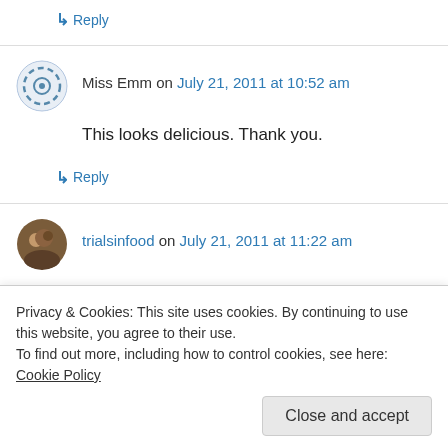↳ Reply
Miss Emm on July 21, 2011 at 10:52 am
This looks delicious. Thank you.
↳ Reply
trialsinfood on July 21, 2011 at 11:22 am
the pie looks delicious! i'd sure like one with my
Privacy & Cookies: This site uses cookies. By continuing to use this website, you agree to their use.
To find out more, including how to control cookies, see here: Cookie Policy
Close and accept